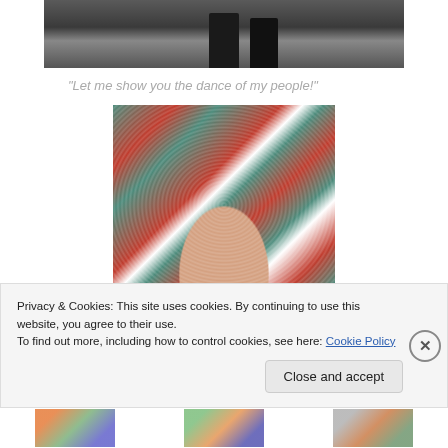[Figure (photo): Partial photo showing legs/boots of a person on steps or a dark surface, cropped at top]
"Let me show you the dance of my people!"
[Figure (photo): Close-up photo of colorful plaid/tartan fabric (red, teal, white pattern) with a spider-web-like design, showing skin beneath]
Privacy & Cookies: This site uses cookies. By continuing to use this website, you agree to their use.
To find out more, including how to control cookies, see here: Cookie Policy
Close and accept